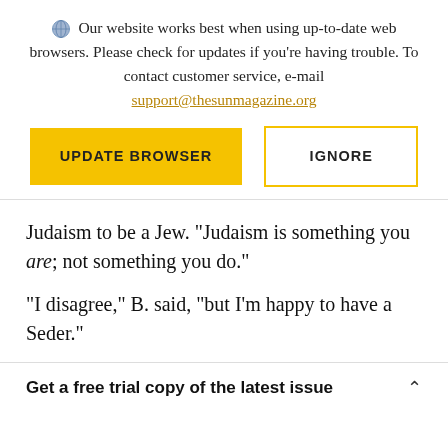Our website works best when using up-to-date web browsers. Please check for updates if you're having trouble. To contact customer service, e-mail support@thesunmagazine.org
[Figure (other): Two buttons: a yellow filled button labeled UPDATE BROWSER and a yellow-outlined button labeled IGNORE]
Judaism to be a Jew. “Judaism is something you are; not something you do.”
“I disagree,” B. said, “but I’m happy to have a Seder.”
Get a free trial copy of the latest issue